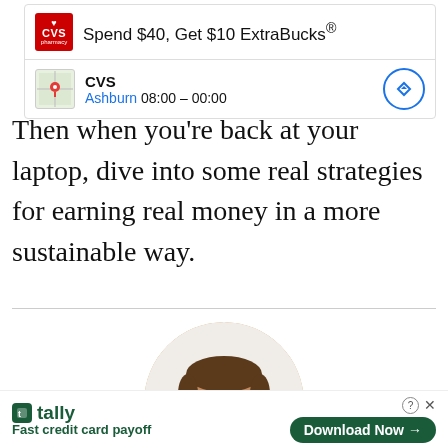[Figure (screenshot): CVS Pharmacy ad card showing 'Spend $40, Get $10 ExtraBucks®' promotion with CVS logo, map thumbnail, location 'Ashburn 08:00 – 00:00', and navigation button]
Then when you're back at your laptop, dive into some real strategies for earning real money in a more sustainable way.
[Figure (photo): Circular profile photo of a smiling man with glasses, brown hair, wearing a dark shirt]
[Figure (screenshot): Tally app advertisement banner: 'Fast credit card payoff' with a 'Download Now' button]